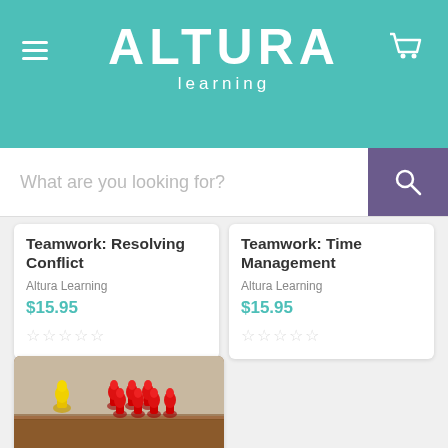Altura Learning - navigation header with logo, hamburger menu, and cart icon
[Figure (screenshot): Search bar with placeholder 'What are you looking for?' and purple search button]
Teamwork: Resolving Conflict
Altura Learning
$15.95
[Figure (other): Star rating: empty stars]
Teamwork: Time Management
Altura Learning
$15.95
[Figure (other): Star rating: empty stars]
[Figure (photo): Photo of one yellow pawn figure facing a group of red pawn figures on a wooden table, representing workplace conflict or bullying]
Workplace Conduct: Bullying and Harassment